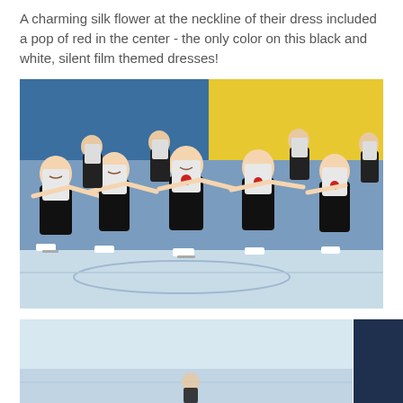A charming silk flower at the neckline of their dress included a pop of red in the center - the only color on this black and white, silent film themed dresses!
[Figure (photo): A group of synchronized ice skaters performing together on the ice. They wear matching black and white dresses with a red silk flower at the neckline. They are in formation with arms extended, leaning forward in unison against a blue and yellow arena backdrop.]
[Figure (photo): Partial view of a second photo showing ice skaters on a rink, partially visible at the bottom of the page.]